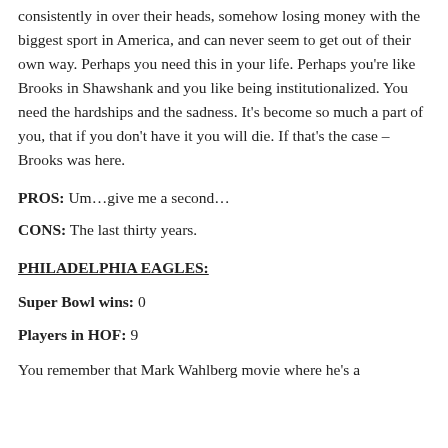consistently in over their heads, somehow losing money with the biggest sport in America, and can never seem to get out of their own way. Perhaps you need this in your life. Perhaps you're like Brooks in Shawshank and you like being institutionalized. You need the hardships and the sadness. It's become so much a part of you, that if you don't have it you will die. If that's the case – Brooks was here.
PROS: Um…give me a second…
CONS: The last thirty years.
PHILADELPHIA EAGLES:
Super Bowl wins: 0
Players in HOF: 9
You remember that Mark Wahlberg movie where he's a